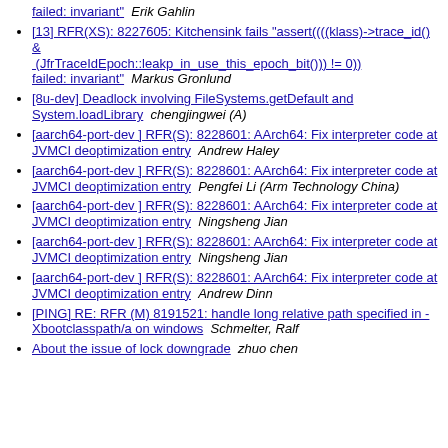failed: invariant"  Erik Gahlin
[13] RFR(XS): 8227605: Kitchensink fails "assert((((klass)->trace_id() & (JfrTraceIdEpoch::leakp_in_use_this_epoch_bit())) != 0)) failed: invariant"  Markus Gronlund
[8u-dev] Deadlock involving FileSystems.getDefault and System.loadLibrary  chengjingwei (A)
[aarch64-port-dev ] RFR(S): 8228601: AArch64: Fix interpreter code at JVMCI deoptimization entry  Andrew Haley
[aarch64-port-dev ] RFR(S): 8228601: AArch64: Fix interpreter code at JVMCI deoptimization entry  Pengfei Li (Arm Technology China)
[aarch64-port-dev ] RFR(S): 8228601: AArch64: Fix interpreter code at JVMCI deoptimization entry  Ningsheng Jian
[aarch64-port-dev ] RFR(S): 8228601: AArch64: Fix interpreter code at JVMCI deoptimization entry  Ningsheng Jian
[aarch64-port-dev ] RFR(S): 8228601: AArch64: Fix interpreter code at JVMCI deoptimization entry  Andrew Dinn
[PING] RE: RFR (M) 8191521: handle long relative path specified in -Xbootclasspath/a on windows  Schmelter, Ralf
About the issue of lock downgrade  zhuo chen